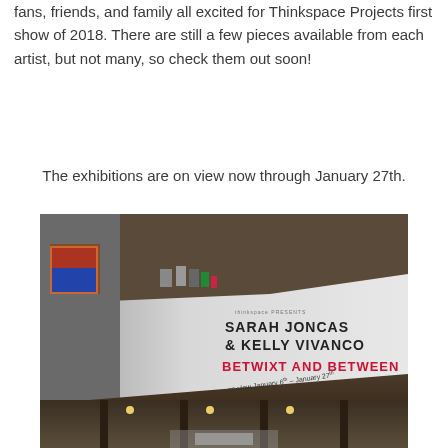fans, friends, and family all excited for Thinkspace Projects first show of 2018. There are still a few pieces available from each artist, but not many, so check them out soon!
The exhibitions are on view now through January 27th.
[Figure (photo): Interior gallery shot showing wall text and artworks: 'thinkspace presents SARAH JONCAS & KELLY VIVANCO BETWIXT AND BETWEEN on view January 6th – January 27th']
[Figure (photo): Ceiling/overhead view of gallery interior with track lighting and wooden ceiling.]